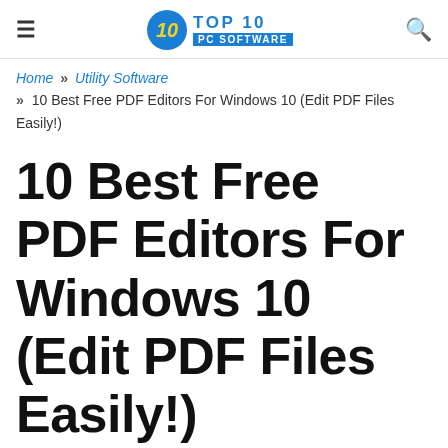TOP 10 PC SOFTWARE
Home >> Utility Software >> 10 Best Free PDF Editors For Windows 10 (Edit PDF Files Easily!)
10 Best Free PDF Editors For Windows 10 (Edit PDF Files Easily!)